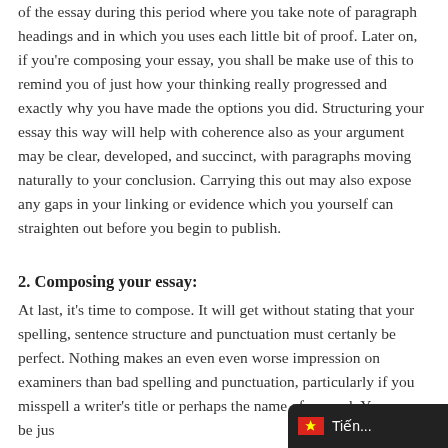of the essay during this period where you take note of paragraph headings and in which you uses each little bit of proof. Later on, if you're composing your essay, you shall be make use of this to remind you of just how your thinking really progressed and exactly why you have made the options you did. Structuring your essay this way will help with coherence also as your argument may be clear, developed, and succinct, with paragraphs moving naturally to your conclusion. Carrying this out may also expose any gaps in your linking or evidence which you yourself can straighten out before you begin to publish.
2. Composing your essay:
At last, it's time to compose. It will get without stating that your spelling, sentence structure and punctuation must certanly be perfect. Nothing makes an even even worse impression on examiners than bad spelling and punctuation, particularly if you misspell a writer's title or perhaps the name of a novel. You may be jus